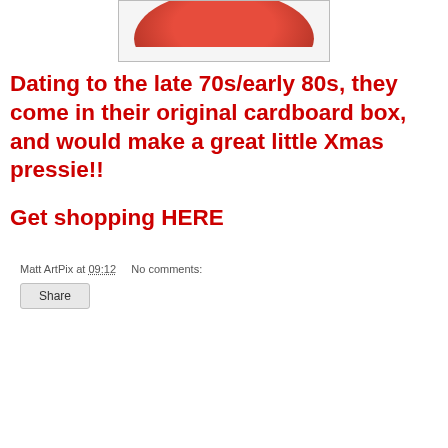[Figure (photo): Partial view of a red round object (possibly ornament or tin) on white background, cropped at top]
Dating to the late 70s/early 80s, they come in their original cardboard box, and would make a great little Xmas pressie!!
Get shopping HERE
Matt ArtPix at 09:12    No comments:
Share